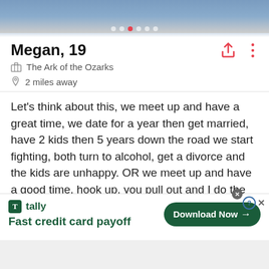[Figure (photo): Partial photo of a person, cropped at top, with navigation dots overlay]
Megan, 19
The Ark of the Ozarks
2 miles away
Let's think about this, we meet up and have a great time, we date for a year then get married, have 2 kids then 5 years down the road we start fighting, both turn to alcohol, get a divorce and the kids are unhappy. OR we meet up and have a good time, hook up, you pull out and I do the walk of shame and never see you again.
Just think of the kids 🤔
[Figure (screenshot): Tally advertisement banner: Fast credit card payoff, Download Now button]